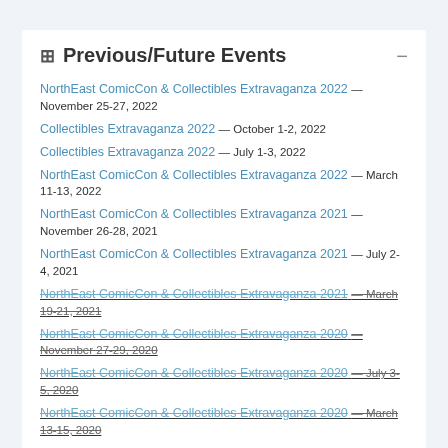Previous/Future Events
NorthEast ComicCon & Collectibles Extravaganza 2022 — November 25-27, 2022
Collectibles Extravaganza 2022 — October 1-2, 2022
Collectibles Extravaganza 2022 — July 1-3, 2022
NorthEast ComicCon & Collectibles Extravaganza 2022 — March 11-13, 2022
NorthEast ComicCon & Collectibles Extravaganza 2021 — November 26-28, 2021
NorthEast ComicCon & Collectibles Extravaganza 2021 — July 2-4, 2021
NorthEast ComicCon & Collectibles Extravaganza 2021 — March 19-21, 2021 [strikethrough]
NorthEast ComicCon & Collectibles Extravaganza 2020 — November 27-29, 2020 [strikethrough]
NorthEast ComicCon & Collectibles Extravaganza 2020 — July 3-5, 2020 [strikethrough]
NorthEast ComicCon & Collectibles Extravaganza 2020 — March 13-15, 2020 [strikethrough]
NorthEast ComicCon & Collectibles Extravaganza 2019 — November 29 - December 1, 2019
Northeast Collectibles Extravaganza 2019 — July 6-7, 2019